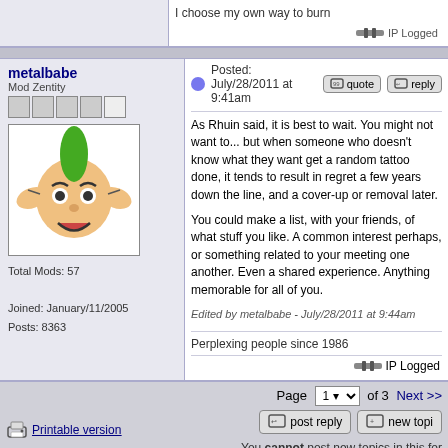I choose my own way to burn
IP Logged
metalbabe
Mod Zentity
Total Mods: 57
Joined: January/11/2005
Posts: 8363
Posted: July/28/2011 at 9:41am
As Rhuin said, it is best to wait. You might not want to... but when someone who doesn't know what they want get a random tattoo done, it tends to result in regret a few years down the line, and a cover-up or removal later.

You could make a list, with your friends, of what stuff you like. A common interest perhaps, or something related to your meeting one another. Even a shared experience. Anything memorable for all of you.

Edited by metalbabe - July/28/2011 at 9:44am
Perplexing people since 1986
IP Logged
Page 1 of 3 Next >>
You cannot post new topics in this forum
You cannot reply to topics in this forum
Printable version